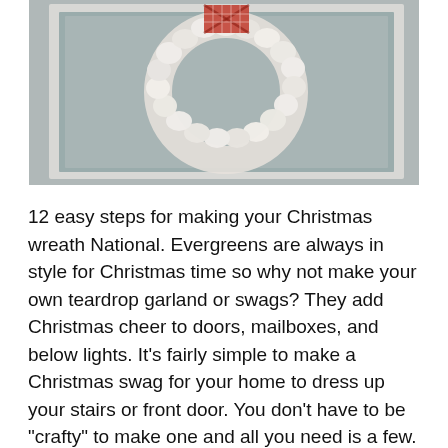[Figure (photo): A white fabric or yarn Christmas wreath hanging on a white framed background, with plaid fabric accent at the top. The wreath is made of ruffled white fabric loops arranged in a circular shape.]
12 easy steps for making your Christmas wreath National. Evergreens are always in style for Christmas time so why not make your own teardrop garland or swags? They add Christmas cheer to doors, mailboxes, and below lights. It's fairly simple to make a Christmas swag for your home to dress up your stairs or front door. You don't have to be "crafty" to make one and all you need is a few.